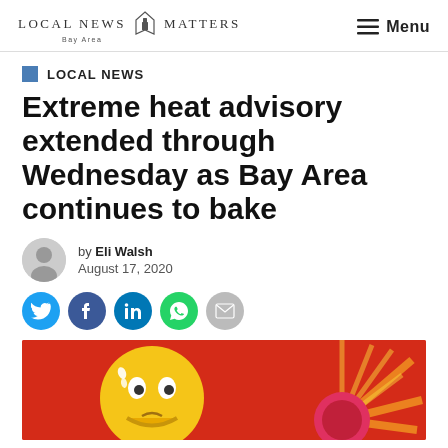Local News Matters Bay Area | Menu
LOCAL NEWS
Extreme heat advisory extended through Wednesday as Bay Area continues to bake
by Eli Walsh
August 17, 2020
[Figure (illustration): Cartoon sun emoji with sweat drops looking distressed next to a hot red sun with rays, on a red/orange background]